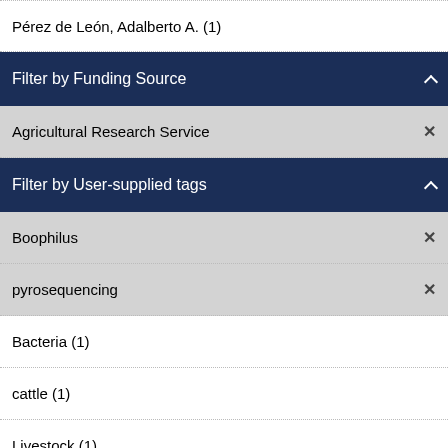Pérez de León, Adalberto A. (1)
Filter by Funding Source
Agricultural Research Service ×
Filter by User-supplied tags
Boophilus ×
pyrosequencing ×
Bacteria (1)
cattle (1)
Livestock (1)
microbiome (1)
NP104 (1)
pathogens (1)
Prosipora (1)